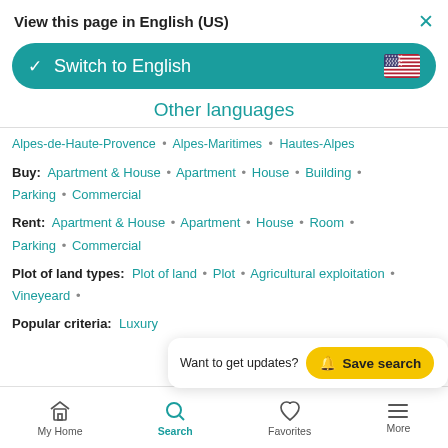View this page in English (US)
[Figure (screenshot): Switch to English button with US flag, teal rounded rectangle]
Other languages
Alpes-de-Haute-Provence · Alpes-Maritimes · Hautes-Alpes
Buy: Apartment & House · Apartment · House · Building · Parking · Commercial
Rent: Apartment & House · Apartment · House · Room · Parking · Commercial
Plot of land types: Plot of land · Plot · Agricultural exploitation · Vineyeard ·
Popular criteria: Luxury
[Figure (screenshot): Save search toast notification: Want to get updates? Save search button in yellow]
My Home · Search · Favorites · More